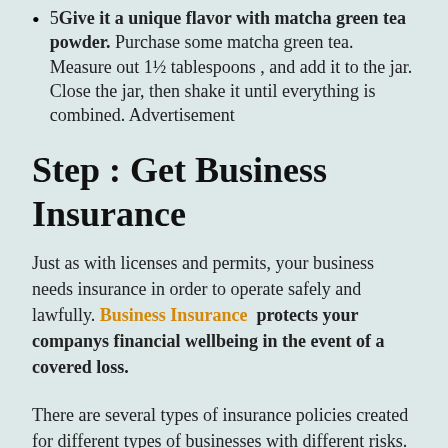5 Give it a unique flavor with matcha green tea powder. Purchase some matcha green tea. Measure out 1½ tablespoons , and add it to the jar. Close the jar, then shake it until everything is combined. Advertisement
Step : Get Business Insurance
Just as with licenses and permits, your business needs insurance in order to operate safely and lawfully. Business Insurance protects your companys financial wellbeing in the event of a covered loss.
There are several types of insurance policies created for different types of businesses with different risks. If youre unsure of the types of risks that your business may face, begin with General Liability Insurance. This is the most common coverage that small businesses need, so its a great